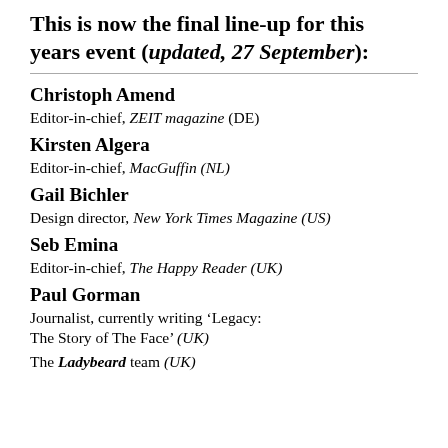This is now the final line-up for this years event (updated, 27 September):
Christoph Amend
Editor-in-chief, ZEIT magazine (DE)
Kirsten Algera
Editor-in-chief, MacGuffin (NL)
Gail Bichler
Design director, New York Times Magazine (US)
Seb Emina
Editor-in-chief, The Happy Reader (UK)
Paul Gorman
Journalist, currently writing ‘Legacy: The Story of The Face’ (UK)
The Ladybeard team (UK)